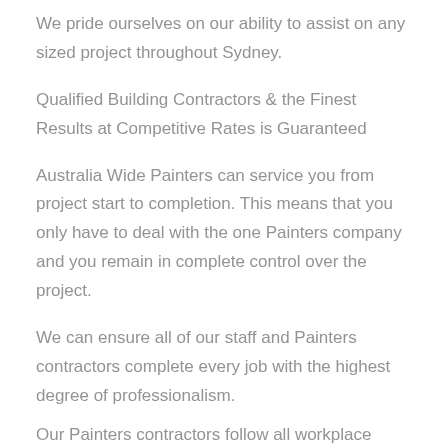We pride ourselves on our ability to assist on any sized project throughout Sydney.
Qualified Building Contractors & the Finest Results at Competitive Rates is Guaranteed
Australia Wide Painters can service you from project start to completion. This means that you only have to deal with the one Painters company and you remain in complete control over the project.
We can ensure all of our staff and Painters contractors complete every job with the highest degree of professionalism.
Our Painters contractors follow all workplace health and safety regulations and leave the work - site clean.